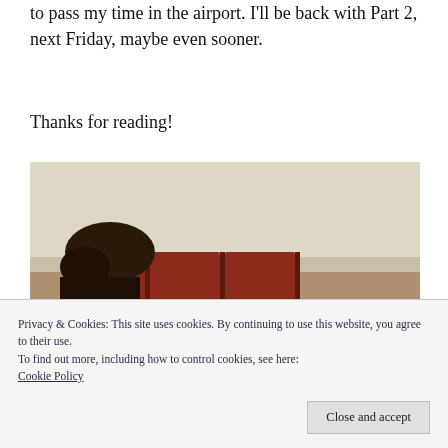to pass my time in the airport. I'll be back with Part 2, next Friday, maybe even sooner.
Thanks for reading!
[Figure (photo): Photo of airport seating area — red seats along a beige wall, person with dark hair resting/sleeping in the seats, visible from behind.]
Privacy & Cookies: This site uses cookies. By continuing to use this website, you agree to their use.
To find out more, including how to control cookies, see here:
Cookie Policy
Close and accept